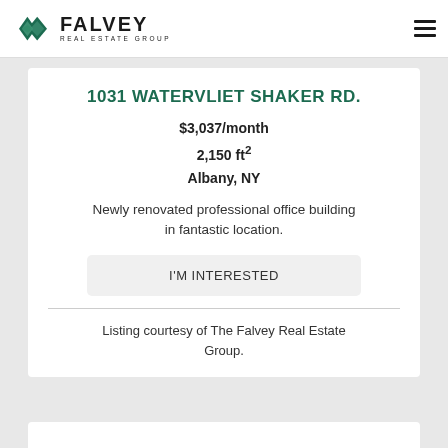FALVEY REAL ESTATE GROUP
1031 WATERVLIET SHAKER RD.
$3,037/month
2,150 ft²
Albany, NY
Newly renovated professional office building in fantastic location.
I'M INTERESTED
Listing courtesy of The Falvey Real Estate Group.